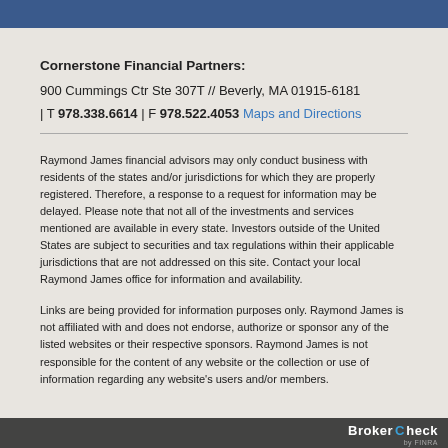Cornerstone Financial Partners:
900 Cummings Ctr Ste 307T // Beverly, MA 01915-6181
| T 978.338.6614 | F 978.522.4053 Maps and Directions
Raymond James financial advisors may only conduct business with residents of the states and/or jurisdictions for which they are properly registered. Therefore, a response to a request for information may be delayed. Please note that not all of the investments and services mentioned are available in every state. Investors outside of the United States are subject to securities and tax regulations within their applicable jurisdictions that are not addressed on this site. Contact your local Raymond James office for information and availability.
Links are being provided for information purposes only. Raymond James is not affiliated with and does not endorse, authorize or sponsor any of the listed websites or their respective sponsors. Raymond James is not responsible for the content of any website or the collection or use of information regarding any website's users and/or members.
BrokerCheck by FINRA